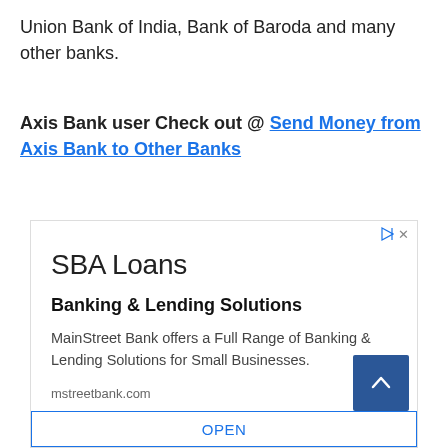Union Bank of India, Bank of Baroda and many other banks.
Axis Bank user Check out @ Send Money from Axis Bank to Other Banks
[Figure (other): Advertisement box for SBA Loans - MainStreet Bank. Contains title 'SBA Loans', subtitle 'Banking & Lending Solutions', description 'MainStreet Bank offers a Full Range of Banking & Lending Solutions for Small Businesses.', URL 'mstreetbank.com', a scroll-to-top button, and an OPEN button at the bottom.]